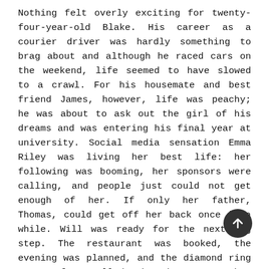Nothing felt overly exciting for twenty-four-year-old Blake. His career as a courier driver was hardly something to brag about and although he raced cars on the weekend, life seemed to have slowed to a crawl. For his housemate and best friend James, however, life was peachy; he was about to ask out the girl of his dreams and was entering his final year at university. Social media sensation Emma Riley was living her best life: her following was booming, her sponsors were calling, and people just could not get enough of her. If only her father, Thomas, could get off her back once in a while. Will was ready for the next big step. The restaurant was booked, the evening was planned, and the diamond ring was perfect. All he hoped now was that Lila, his girlfriend of four years, would say yes. But after a mysterious fire-breathing creature leaves the Australian city of the Gold Coast in ruins, this group of strangers are forced to leave their old lives behind and band together in a fight for survival. With no way to